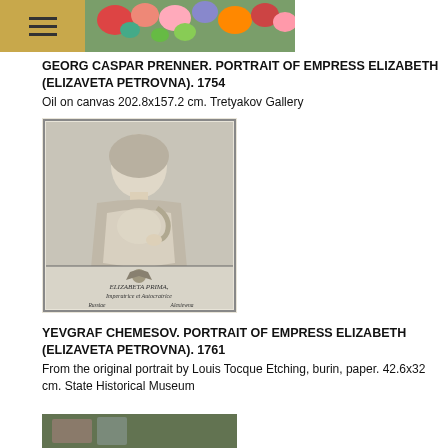[Figure (photo): Floral painting visible at top of page, partially cropped]
GEORG CASPAR PRENNER. PORTRAIT OF EMPRESS ELIZABETH (ELIZAVETA PETROVNA). 1754
Oil on canvas 202.8x157.2 cm. Tretyakov Gallery
[Figure (photo): Black and white engraving portrait of Empress Elizabeth (Elizaveta Petrovna) by Yevgraf Chemesov, showing a woman in 18th century dress with a caption in Latin at the bottom: ELIZABETA PRIMA, Imperatrice et Autocratrice, Russiae Alexiewna]
YEVGRAF CHEMESOV. PORTRAIT OF EMPRESS ELIZABETH (ELIZAVETA PETROVNA). 1761
From the original portrait by Louis Tocque Etching, burin, paper. 42.6x32 cm. State Historical Museum
[Figure (photo): Bottom of page shows top edge of another artwork, partially cropped]